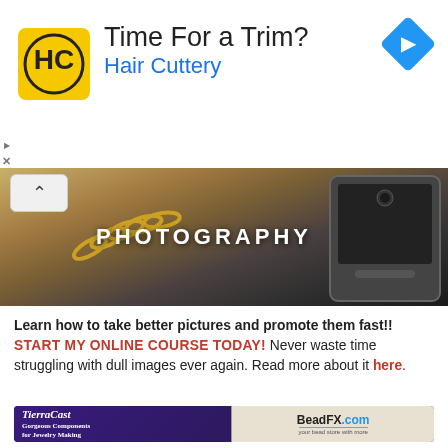[Figure (screenshot): Hair Cuttery advertisement banner with HC logo, 'Time For a Trim?' headline, blue 'Hair Cuttery' subtext, and navigation arrow icon]
[Figure (photo): Photography banner showing jewelry and camera/smartphone, with 'PHOTOGRAPHY' text overlay]
Learn how to take better pictures and promote them fast!! START MY ONLINE COURSE TODAY! Never waste time struggling with dull images ever again. Read more about it here.
[Figure (photo): TierraCast 'Gorgeous Components for Jewelry Making' and BeadFX.com 'your bead store with more' advertisement showing colorful beaded jewelry]